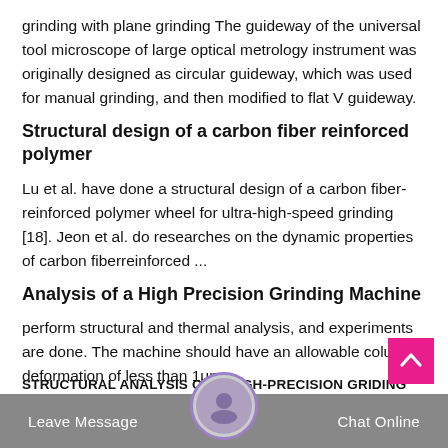grinding with plane grinding The guideway of the universal tool microscope of large optical metrology instrument was originally designed as circular guideway, which was used for manual grinding, and then modified to flat V guideway.
Structural design of a carbon fiber reinforced polymer
Lu et al. have done a structural design of a carbon fiber-reinforced polymer wheel for ultra-high-speed grinding [18]. Jeon et al. do researches on the dynamic properties of carbon fiberreinforced ...
Analysis of a High Precision Grinding Machine
perform structural and thermal analysis, and experiments are done. The machine should have an allowable column deformation of less than 1μm.
STRUCTURAL ANALYSIS OF A HIGH-PRECISION GRIDING